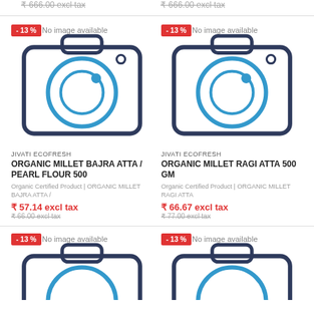₹ 666.00 excl tax (left, strikethrough)
₹ 666.00 excl tax (right, strikethrough)
[Figure (photo): No image available placeholder with camera icon, -13% badge, left product]
JIVATI ECOFRESH
ORGANIC MILLET BAJRA ATTA / PEARL FLOUR 500
Organic Certified Product | ORGANIC MILLET BAJRA ATTA /
₹ 57.14 excl tax
₹ 66.00 excl tax
[Figure (photo): No image available placeholder with camera icon, -13% badge, right product]
JIVATI ECOFRESH
ORGANIC MILLET RAGI ATTA 500 GM
Organic Certified Product | ORGANIC MILLET RAGI ATTA
₹ 66.67 excl tax
₹ 77.00 excl tax
[Figure (photo): No image available placeholder with camera icon, -13% badge, bottom left product]
[Figure (photo): No image available placeholder with camera icon, -13% badge, bottom right product]